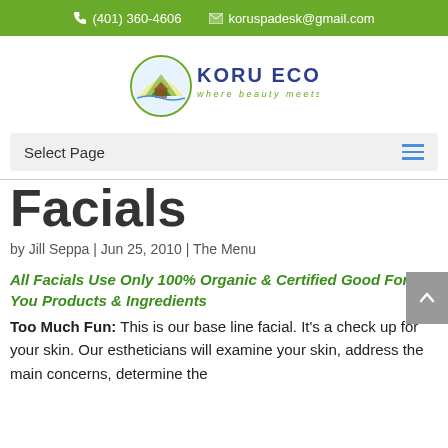(401) 360-4606  koruspadesk@gmail.com
[Figure (logo): Koru Eco Spa logo with circular emblem showing a house/spa with mountains and sun, text reads KORU ECO SPA where beauty meets wellness]
Select Page
Facials
by Jill Seppa | Jun 25, 2010 | The Menu
All Facials Use Only 100% Organic & Certified Good For You Products & Ingredients
Too Much Fun: This is our base line facial. It's a check up for your skin. Our estheticians will examine your skin, address the main concerns, determine the products appropriate for your skin, and treat your skin